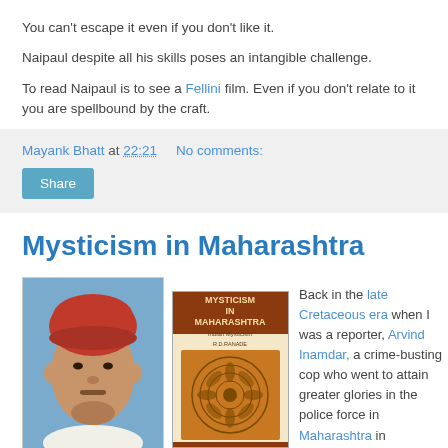You can't escape it even if you don't like it.
Naipaul despite all his skills poses an intangible challenge.
To read Naipaul is to see a Fellini film. Even if you don't relate to it you are spellbound by the craft.
Mayank Bhatt at 22:21   No comments:
Share
Mysticism in Maharashtra
[Figure (photo): Portrait photo of an Indian man wearing a red turban]
[Figure (photo): Book cover: Mysticism in Maharashtra, Indian Mysticism, R.D. Ranade]
Back in the late Cretaceous era when I was a reporter, Arvind Inamdar, a crime-busting cop who went to attain greater glories in the police force in Maharashtra in